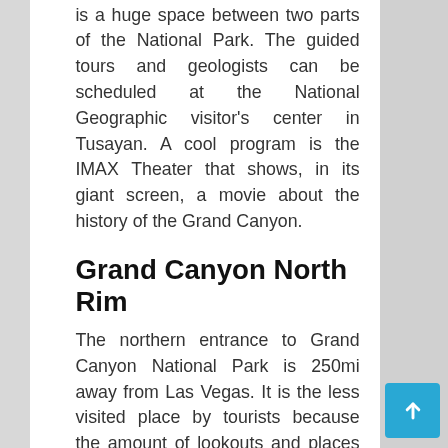is a huge space between two parts of the National Park. The guided tours and geologists can be scheduled at the National Geographic visitor's center in Tusayan. A cool program is the IMAX Theater that shows, in its giant screen, a movie about the history of the Grand Canyon.
Grand Canyon North Rim
The northern entrance to Grand Canyon National Park is 250mi away from Las Vegas. It is the less visited place by tourists because the amount of lookouts and places to enjoy the views are more limited than the southern border. The northern part is only open from May 15 to October 15, and since it is in a much higher region it is the coolest part of the Grand Canyon. The price of the ticket is the same as the South Rim.
[Figure (photo): Photo of Grand Canyon North Rim showing orange/brown canyon landscape]